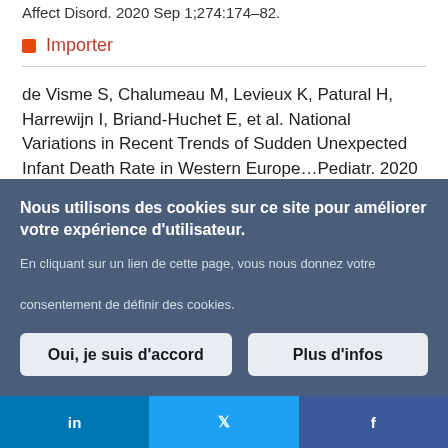Affect Disord. 2020 Sep 1;274:174-82.
Importer
de Visme S, Chalumeau M, Levieux K, Patural H, Harrewijn I, Briand-Huchet E, et al. National Variations in Recent Trends of Sudden Unexpected Infant Death Rate in Western Europe...Pediatr. 2020 b...23.
Nous utilisons des cookies sur ce site pour améliorer votre expérience d'utilisateur.

En cliquant sur un lien de cette page, vous nous donnez votre consentement de définir des cookies.
Oui, je suis d'accord
Plus d'infos
in
𝕏
f